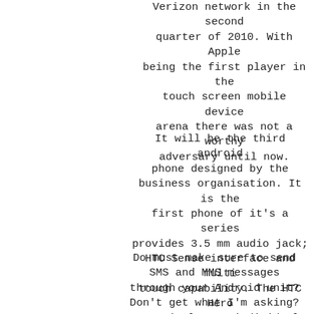Verizon network in the second quarter of 2010. With Apple being the first player in the touch screen mobile device arena there was not a worthy adversary until now.
It will be the third android phone designed by the business organisation. It is the first phone of it's a series provides 3.5 mm audio jack; HTC Sense interface and multi touch capability. The HTC Hero is also the first android device which assists to Adobe Flash.
Do must make sure to send SMS and MMS messages through your Android unit? Don't get what I'm asking? More simply: an individual text? If you do, you might want to get Handcent SMS for Android.